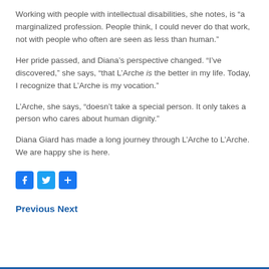Working with people with intellectual disabilities, she notes, is “a marginalized profession. People think, I could never do that work, not with people who often are seen as less than human.”
Her pride passed, and Diana’s perspective changed. “I’ve discovered,” she says, “that L’Arche is the better in my life. Today, I recognize that L’Arche is my vocation.”
L’Arche, she says, “doesn’t take a special person. It only takes a person who cares about human dignity.”
Diana Giard has made a long journey through L’Arche to L’Arche. We are happy she is here.
[Figure (infographic): Social sharing icons: Facebook (blue square with f), Twitter (light blue square with bird), Share (blue square with plus/share icon)]
Previous Next